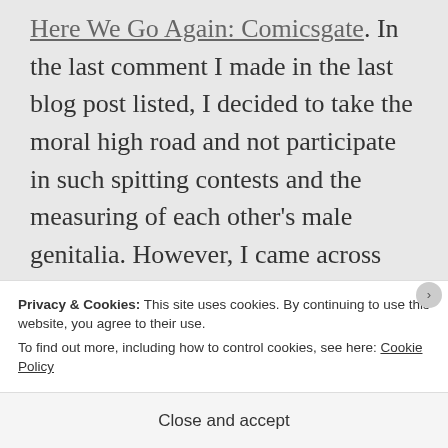Here We Go Again: Comicsgate. In the last comment I made in the last blog post listed, I decided to take the moral high road and not participate in such spitting contests and the measuring of each other's male genitalia. However, I came across something interesting.
[Figure (photo): Partial photo of a person wearing a flat cap/newsboy hat, only the top of their head and eyes visible, against a light background]
Privacy & Cookies: This site uses cookies. By continuing to use this website, you agree to their use.
To find out more, including how to control cookies, see here: Cookie Policy
Close and accept